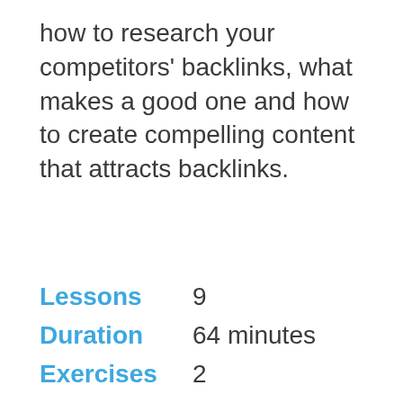how to research your competitors' backlinks, what makes a good one and how to create compelling content that attracts backlinks.
Lessons  9
Duration  64 minutes
Exercises  2